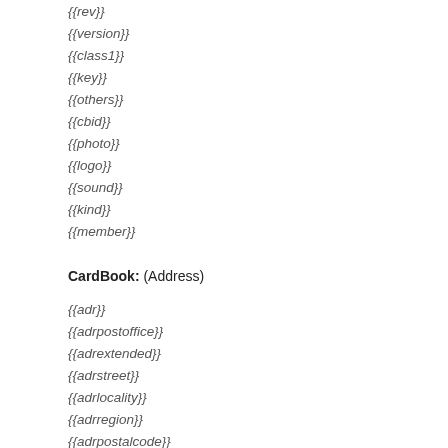{{rev}}
{{version}}
{{class1}}
{{key}}
{{others}}
{{cbid}}
{{photo}}
{{logo}}
{{sound}}
{{kind}}
{{member}}
CardBook: (Address)
{{adr}}
{{adrpostoffice}}
{{adrextended}}
{{adrstreet}}
{{adrlocality}}
{{adrregion}}
{{adrpostalcode}}
{{adrcountry}}